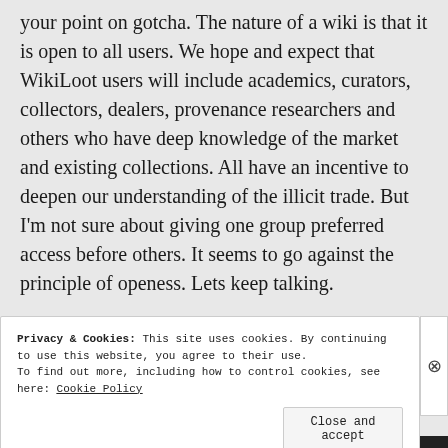your point on gotcha. The nature of a wiki is that it is open to all users. We hope and expect that WikiLoot users will include academics, curators, collectors, dealers, provenance researchers and others who have deep knowledge of the market and existing collections. All have an incentive to deepen our understanding of the illicit trade. But I'm not sure about giving one group preferred access before others. It seems to go against the principle of openess. Lets keep talking.
Privacy & Cookies: This site uses cookies. By continuing to use this website, you agree to their use.
To find out more, including how to control cookies, see here: Cookie Policy
Close and accept